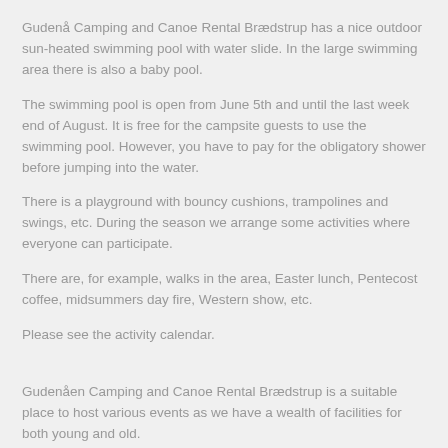Gudenå Camping and Canoe Rental Brædstrup has a nice outdoor sun-heated swimming pool with water slide. In the large swimming area there is also a baby pool.
The swimming pool is open from June 5th and until the last week end of August. It is free for the campsite guests to use the swimming pool. However, you have to pay for the obligatory shower before jumping into the water.
There is a playground with bouncy cushions, trampolines and swings, etc. During the season we arrange some activities where everyone can participate.
There are, for example, walks in the area, Easter lunch, Pentecost coffee, midsummers day fire, Western show, etc.
Please see the activity calendar.
Gudenåen Camping and Canoe Rental Brædstrup is a suitable place to host various events as we have a wealth of facilities for both young and old.